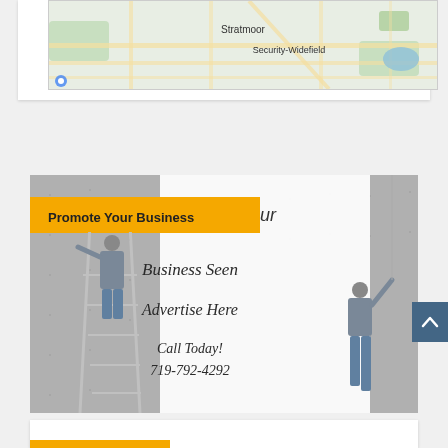[Figure (map): Partial Google Maps screenshot showing Stratmoor and Security-Widefield areas]
[Figure (infographic): Advertise Here promotional banner with two men painting a wall. Text: 'Promote Your Business', 'Get Your Business Seen', 'Advertise Here', 'Call Today! 719-792-4292']
[Figure (infographic): Partial view of another promotional card at the bottom of the page with a yellow/gold accent bar]